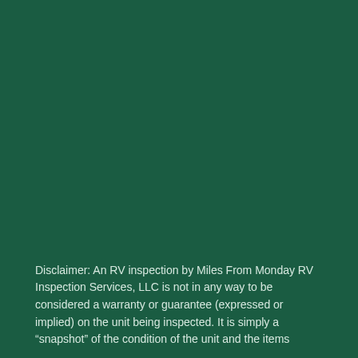Disclaimer: An RV inspection by Miles From Monday RV Inspection Services, LLC is not in any way to be considered a warranty or guarantee (expressed or implied) on the unit being inspected. It is simply a “snapshot” of the condition of the unit and the items